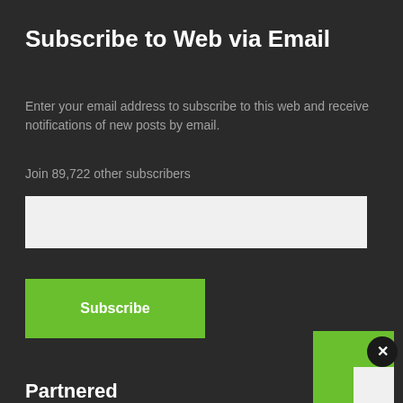Subscribe to Web via Email
Enter your email address to subscribe to this web and receive notifications of new posts by email.
Join 89,722 other subscribers
[Figure (other): Email address input field with placeholder text 'Email Address']
[Figure (other): Green Subscribe button]
Partnered